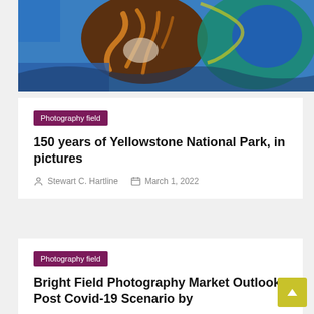[Figure (photo): Aerial photograph of Yellowstone hot spring with vivid blue water, brown/orange mineral formations, and green and teal edges]
Photography field
150 years of Yellowstone National Park, in pictures
Stewart C. Hartline   March 1, 2022
Photography field
Bright Field Photography Market Outlook: Post Covid-19 Scenario by